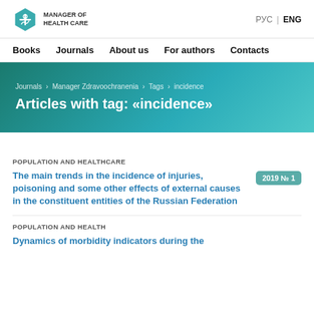MANAGER OF HEALTH CARE | РУС | ENG
Books  Journals  About us  For authors  Contacts
Journals > Manager Zdravoochranenia > Tags > incidence
Articles with tag: «incidence»
POPULATION AND HEALTHCARE
The main trends in the incidence of injuries, poisoning and some other effects of external causes in the constituent entities of the Russian Federation
2019 № 1
POPULATION AND HEALTH
Dynamics of morbidity indicators during the